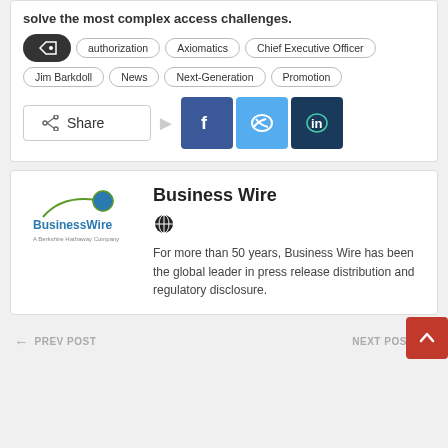solve the most complex access challenges.
authorization
Axiomatics
Chief Executive Officer
Jim Barkdoll
News
Next-Generation
Promotion
[Figure (infographic): Share button with Facebook, Twitter, LinkedIn social share icons]
Business Wire
[Figure (logo): Business Wire logo - A Berkshire Hathaway Company]
For more than 50 years, Business Wire has been the global leader in press release distribution and regulatory disclosure.
PREV POST
NEXT POST